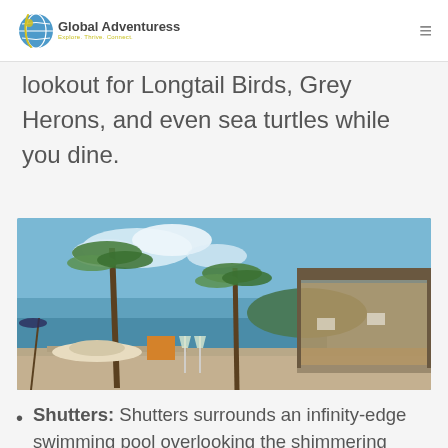Global Adventuress — Explore. Thrive. Connect.
lookout for Longtail Birds, Grey Herons, and even sea turtles while you dine.
[Figure (photo): Outdoor waterfront dining area with palm trees, champagne glasses and a hat on the table in the foreground, with an open-air restaurant structure and calm turquoise water in the background during golden hour.]
Shutters: Shutters surrounds an infinity-edge swimming pool overlooking the shimmering waters of M...